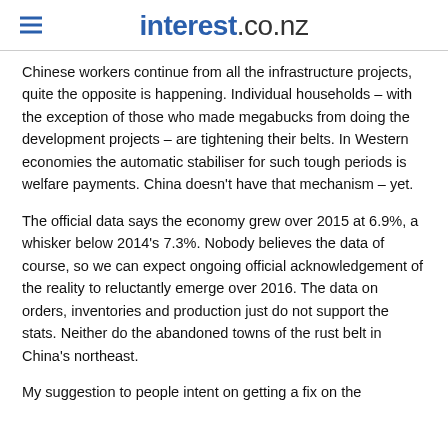interest.co.nz
Chinese workers continue from all the infrastructure projects, quite the opposite is happening. Individual households – with the exception of those who made megabucks from doing the development projects – are tightening their belts. In Western economies the automatic stabiliser for such tough periods is welfare payments. China doesn't have that mechanism – yet.
The official data says the economy grew over 2015 at 6.9%, a whisker below 2014's 7.3%. Nobody believes the data of course, so we can expect ongoing official acknowledgement of the reality to reluctantly emerge over 2016. The data on orders, inventories and production just do not support the stats. Neither do the abandoned towns of the rust belt in China's northeast.
My suggestion to people intent on getting a fix on the